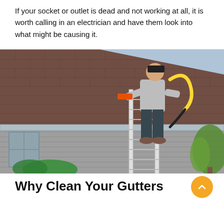If your socket or outlet is dead and not working at all, it is worth calling in an electrician and have them look into what might be causing it.
[Figure (photo): A person standing on a ladder cleaning gutters on a house roof, using a blower tool. Yellow hose visible. House has gray siding and brown shingles.]
Why Clean Your Gutters